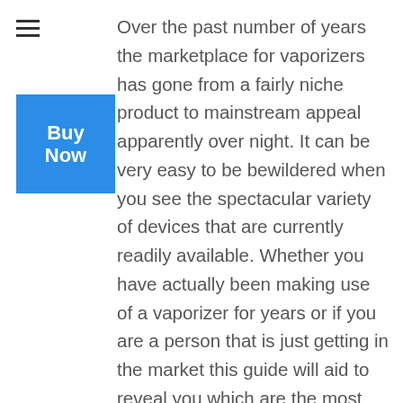[Figure (other): Hamburger menu icon (three horizontal lines)]
[Figure (other): Blue 'Buy Now' button overlay]
Over the past number of years the marketplace for vaporizers has gone from a fairly niche product to mainstream appeal apparently over night. It can be very easy to be bewildered when you see the spectacular variety of devices that are currently readily available. Whether you have actually been making use of a vaporizer for years or if you are a person that is just getting in the market this guide will aid to reveal you which are the most effective alternatives for your